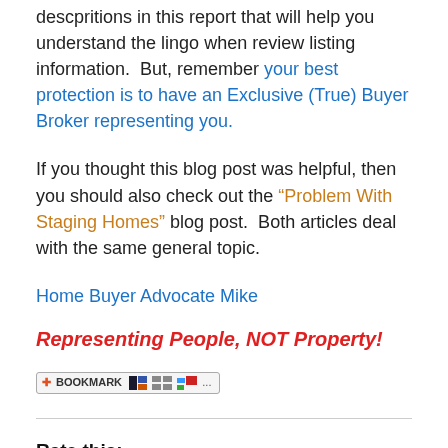descpritions in this report that will help you understand the lingo when review listing information.  But, remember your best protection is to have an Exclusive (True) Buyer Broker representing you.
If you thought this blog post was helpful, then you should also check out the “Problem With Staging Homes” blog post.  Both articles deal with the same general topic.
Home Buyer Advocate Mike
Representing People, NOT Property!
[Figure (other): Bookmark button widget with icons]
Rate this:
[Figure (other): Four and a half star rating with info icon and 1 Votes text]